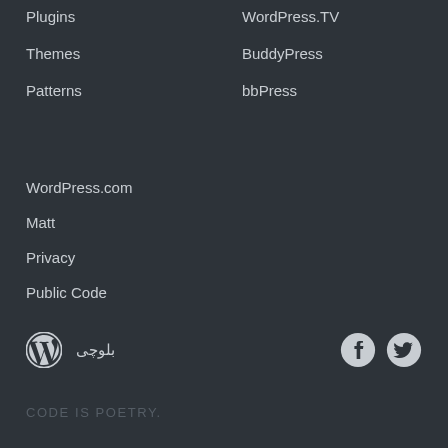Plugins
Themes
Patterns
WordPress.TV
BuddyPress
bbPress
WordPress.com
Matt
Privacy
Public Code
بلوچی
CODE IS POETRY.